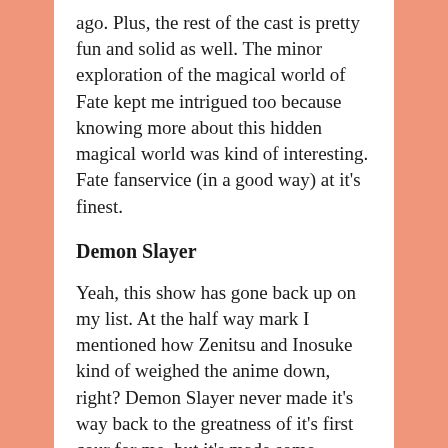ago. Plus, the rest of the cast is pretty fun and solid as well. The minor exploration of the magical world of Fate kept me intrigued too because knowing more about this hidden magical world was kind of interesting. Fate fanservice (in a good way) at it's finest.
Demon Slayer
Yeah, this show has gone back up on my list. At the half way mark I mentioned how Zenitsu and Inosuke kind of weighed the anime down, right? Demon Slayer never made it's way back to the greatness of it's first cour for me, but it's made some returns. The woods arc was a little long, but I liked something it had to offer in terms of...